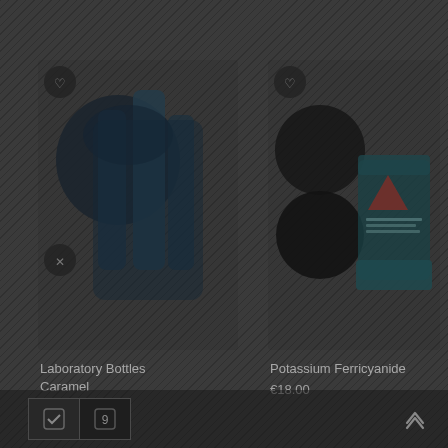[Figure (photo): Product image of Laboratory Bottles Caramel — dark silhouette of multiple lab bottles]
Laboratory Bottles Caramel
€3.00
[Figure (photo): Product image of Potassium Ferricyanide — chemical compound shown in container]
Potassium Ferricyanide
€18.00
[Figure (screenshot): Bottom navigation bar with cart/wishlist icons and scroll-to-top arrow]